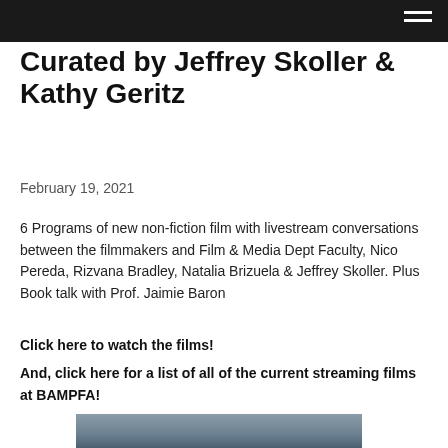Curated by Jeffrey Skoller & Kathy Geritz
February 19, 2021
6 Programs of new non-fiction film with livestream conversations between the filmmakers and Film & Media Dept Faculty, Nico Pereda, Rizvana Bradley, Natalia Brizuela & Jeffrey Skoller. Plus Book talk with Prof. Jaimie Baron
Click here to watch the films!
And, click here for a list of all of the current streaming films at BAMPFA!
[Figure (photo): Partially visible photograph, appears to show a grey-blue sky or landscape scene at the bottom of the page.]